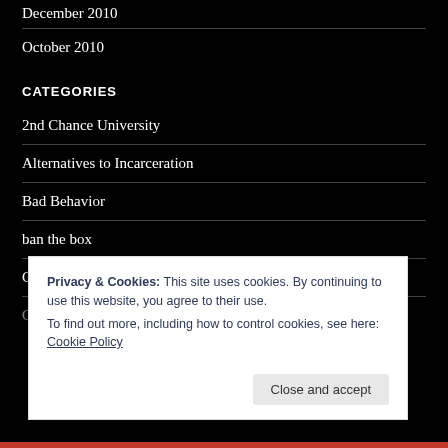December 2010
October 2010
CATEGORIES
2nd Chance University
Alternatives to Incarceration
Bad Behavior
ban the box
Career Breakout
Privacy & Cookies: This site uses cookies. By continuing to use this website, you agree to their use.
To find out more, including how to control cookies, see here: Cookie Policy
Close and accept